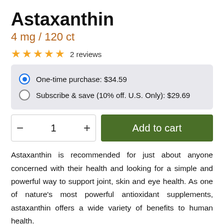Astaxanthin
4 mg / 120 ct
★★★★★ 2 reviews
One-time purchase: $34.59
Subscribe & save (10% off. U.S. Only): $29.69
- 1 + Add to cart
Astaxanthin is recommended for just about anyone concerned with their health and looking for a simple and powerful way to support joint, skin and eye health. As one of nature's most powerful antioxidant supplements, astaxanthin offers a wide variety of benefits to human health.